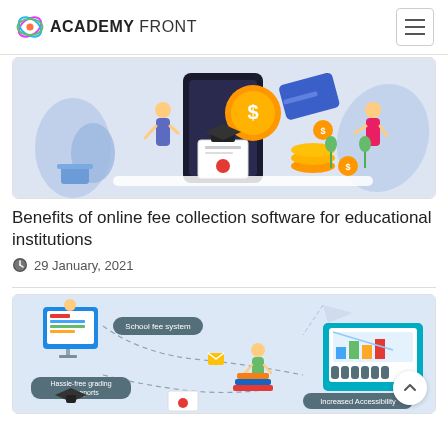ACADEMY FRONT
[Figure (illustration): Illustration showing online fee collection with coins, credit card, diploma, and people using a digital tablet/laptop, in a colorful flat design style]
Benefits of online fee collection software for educational institutions
29 January, 2021
[Figure (illustration): Infographic illustration showing an online fee management system with connected elements: a person at a computer, a school fee system label, hassle-free grading and reports, increased accessibility, email icons, and students with books, connected by dashed lines]